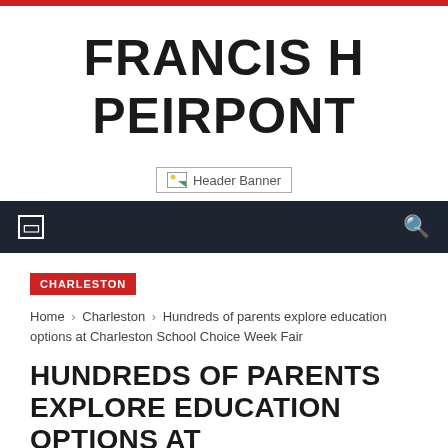FRANCIS H PEIRPONT
[Figure (other): Header Banner placeholder image]
CHARLESTON
Home › Charleston › Hundreds of parents explore education options at Charleston School Choice Week Fair
HUNDREDS OF PARENTS EXPLORE EDUCATION OPTIONS AT